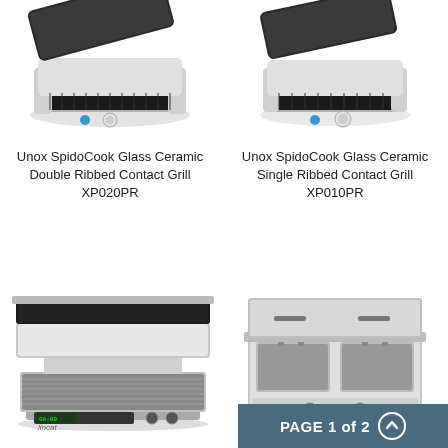[Figure (photo): Unox SpidoCook Glass Ceramic Double Ribbed Contact Grill XP020PR - product photo, open-lid contact grill with ribbed lower plate, white/silver body]
[Figure (photo): Unox SpidoCook Glass Ceramic Single Ribbed Contact Grill XP010PR - product photo, open-lid contact grill, white/silver body]
Unox SpidoCook Glass Ceramic Double Ribbed Contact Grill XP020PR
Unox SpidoCook Glass Ceramic Single Ribbed Contact Grill XP010PR
[Figure (photo): Lincat commercial contact grill - large double-plate ribbed stainless steel grill with digital display and control knobs]
[Figure (photo): Commercial counter-top deep fryer with dual baskets, stainless steel, dual control knobs]
PAGE 1 of 2